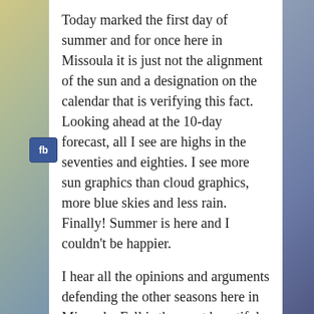Today marked the first day of summer and for once here in Missoula it is just not the alignment of the sun and a designation on the calendar that is verifying this fact. Looking ahead at the 10-day forecast, all I see are highs in the seventies and eighties. I see more sun graphics than cloud graphics, more blue skies and less rain. Finally! Summer is here and I couldn't be happier.
I hear all the opinions and arguments defending the other seasons here in Missoula. Fall is the most beautiful time as leaves change colors, a refreshing crisp air rolls in, students come back on campus, and football